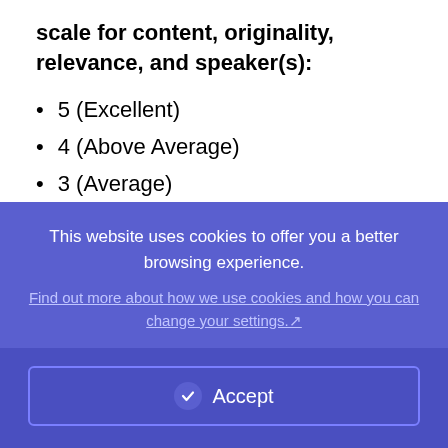scale for content, originality, relevance, and speaker(s):
5 (Excellent)
4 (Above Average)
3 (Average)
2 (Below Average)
1 (Poor)
Reminder: You are required to leave comments for each
This website uses cookies to offer you a better browsing experience.
Find out more about how we use cookies and how you can change your settings.
Accept